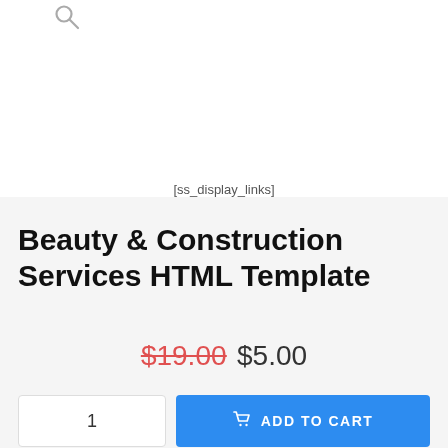[Figure (other): Search magnifier icon at top left of page]
[ss_display_links]
Beauty & Construction Services HTML Template
$19.00 $5.00
1  ADD TO CART